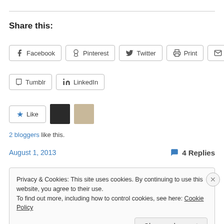Share this:
Facebook
Pinterest
Twitter
Print
Email
Tumblr
LinkedIn
Like
2 bloggers like this.
August 1, 2013   4 Replies
Privacy & Cookies: This site uses cookies. By continuing to use this website, you agree to their use.
To find out more, including how to control cookies, see here: Cookie Policy
Close and accept